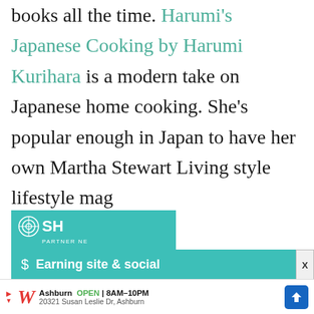books all the time. Harumi's Japanese Cooking by Harumi Kurihara is a modern take on Japanese home cooking. She's popular enough in Japan to have her own Martha Stewart Living style lifestyle mag (it's a quarter
[Figure (other): Advertisement banner: SH Partner Network logo on teal background, with 'Earning site & social' text below on teal bar]
[Figure (other): Walgreens advertisement bar at bottom: Walgreens logo, Ashburn OPEN 8AM-10PM, 20321 Susan Leslie Dr Ashburn, blue navigation icon]